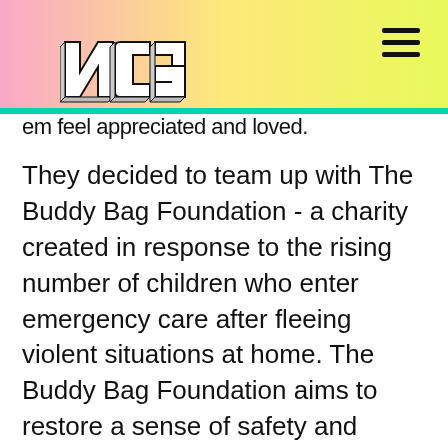[Figure (logo): NCS logo in bold 3D block letters, white outlined, positioned top-left over gradient header]
NCS website header with pink-yellow gradient background and hamburger menu icon
them feel appreciated and loved.
They decided to team up with The Buddy Bag Foundation - a charity created in response to the rising number of children who enter emergency care after fleeing violent situations at home. The Buddy Bag Foundation aims to restore a sense of safety and security into a child's life during a traumatic time, by providing them with essential items and making the transition into emergency care a little easier.